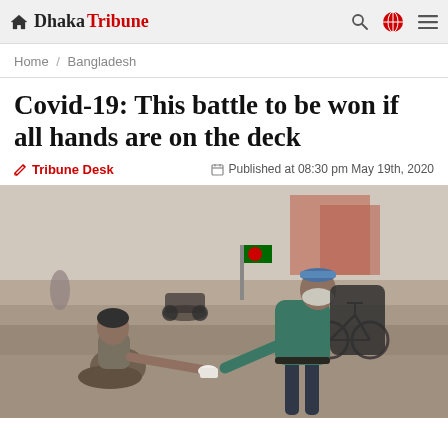Dhaka Tribune
Home / Bangladesh
Covid-19: This battle to be won if all hands are on the deck
Tribune Desk   Published at 08:30 pm May 19th, 2020
[Figure (photo): A uniformed officer wearing a face mask leans down to hand a cup to a person sitting on the ground on a city street. Motorcycles and a bicycle are visible in the background.]